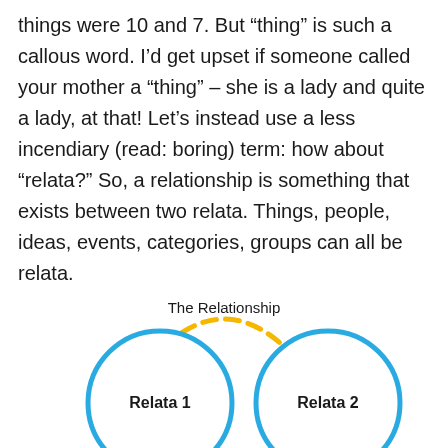things were 10 and 7. But “thing” is such a callous word. I’d get upset if someone called your mother a “thing” – she is a lady and quite a lady, at that! Let’s instead use a less incendiary (read: boring) term: how about “relata?” So, a relationship is something that exists between two relata. Things, people, ideas, events, categories, groups can all be relata.
[Figure (illustration): Diagram showing two blue circles labeled 'Relata 1' and 'Relata 2' connected by a dashed yellow arc labeled 'The Relationship']